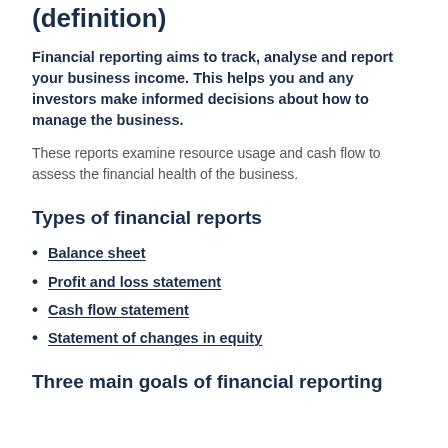(definition)
Financial reporting aims to track, analyse and report your business income. This helps you and any investors make informed decisions about how to manage the business.
These reports examine resource usage and cash flow to assess the financial health of the business.
Types of financial reports
Balance sheet
Profit and loss statement
Cash flow statement
Statement of changes in equity
Three main goals of financial reporting